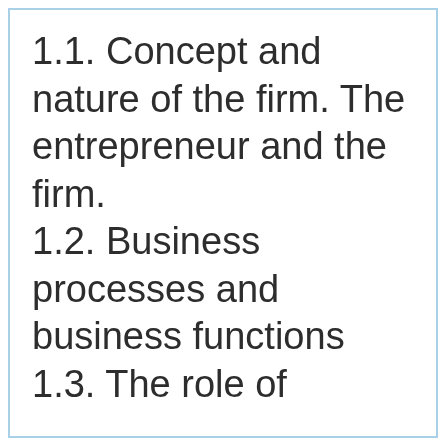1.1. Concept and nature of the firm. The entrepreneur and the firm.
1.2. Business processes and business functions
1.3. The role of